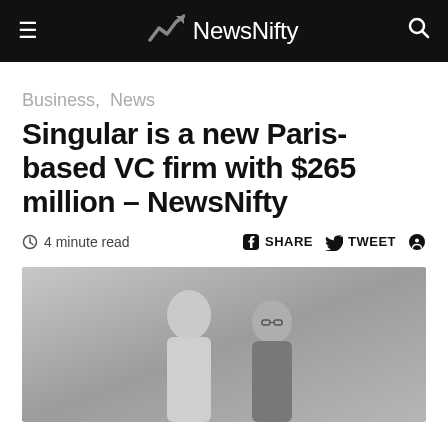NewsNifty
Business,  News
Singular is a new Paris-based VC firm with $265 million – NewsNifty
4 minute read  SHARE  TWEET
[Figure (photo): Two men standing together, smiling, in front of a grey background; one in a light shirt and one in a dark jacket with glasses.]